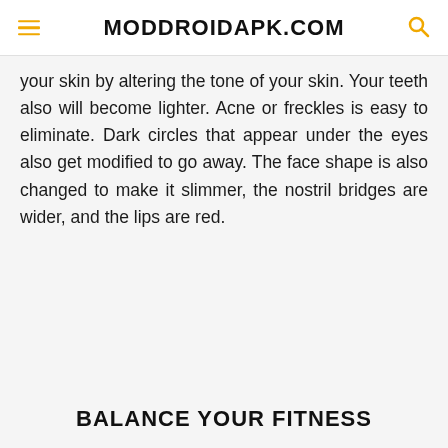MODDROIDAPK.COM
your skin by altering the tone of your skin. Your teeth also will become lighter. Acne or freckles is easy to eliminate. Dark circles that appear under the eyes also get modified to go away. The face shape is also changed to make it slimmer, the nostril bridges are wider, and the lips are red.
BALANCE YOUR FITNESS